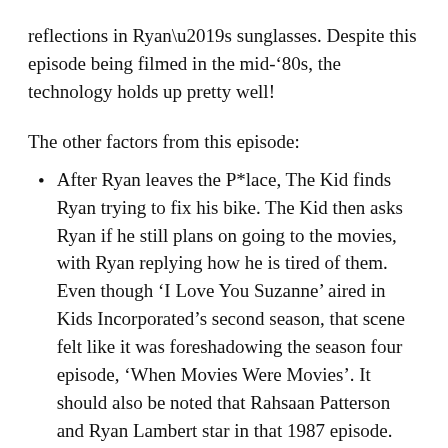reflections in Ryan’s sunglasses. Despite this episode being filmed in the mid-‘80s, the technology holds up pretty well!
The other factors from this episode:
After Ryan leaves the P*lace, The Kid finds Ryan trying to fix his bike. The Kid then asks Ryan if he still plans on going to the movies, with Ryan replying how he is tired of them. Even though ‘I Love You Suzanne’ aired in Kids Incorporated’s second season, that scene felt like it was foreshadowing the season four episode, ‘When Movies Were Movies’. It should also be noted that Rahsaan Patterson and Ryan Lambert star in that 1987 episode.